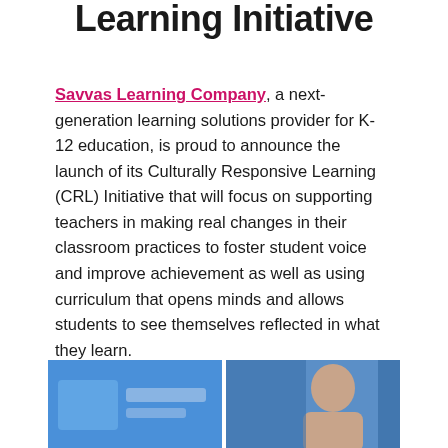Learning Initiative
Savvas Learning Company, a next-generation learning solutions provider for K-12 education, is proud to announce the launch of its Culturally Responsive Learning (CRL) Initiative that will focus on supporting teachers in making real changes in their classroom practices to foster student voice and improve achievement as well as using curriculum that opens minds and allows students to see themselves reflected in what they learn.
[Figure (photo): Two side-by-side partially visible images: left shows a blue background with a partially visible logo/element; right shows a person (face partially visible) with blue background.]